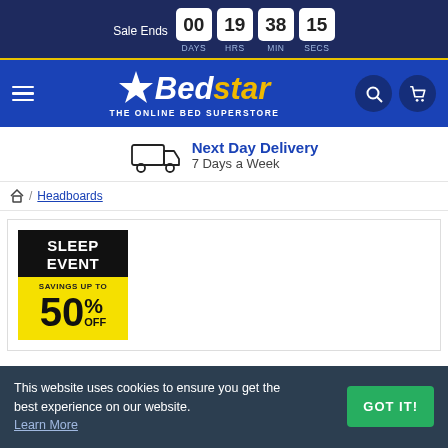Sale Ends 00 DAYS 19 HRS 38 MIN 15 SECS
[Figure (logo): Bedstar logo - The Online Bed Superstore with hamburger menu, search and cart icons]
Next Day Delivery 7 Days a Week
/ Headboards
[Figure (infographic): Sleep Event banner - Savings up to 50% OFF on yellow background with black box]
This website uses cookies to ensure you get the best experience on our website. Learn More